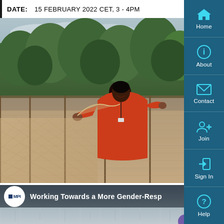DATE:  15 FEBRUARY 2022 CET, 3 - 4PM
[Figure (photo): Woman in a red jacket working with fishing nets at a fish farm, with green trees in the background]
[Figure (screenshot): Video thumbnail showing MPI logo and title: Working Towards a More Gender-Resp[onsive...]]
Home
About
Contact
Join
Sign In
Help